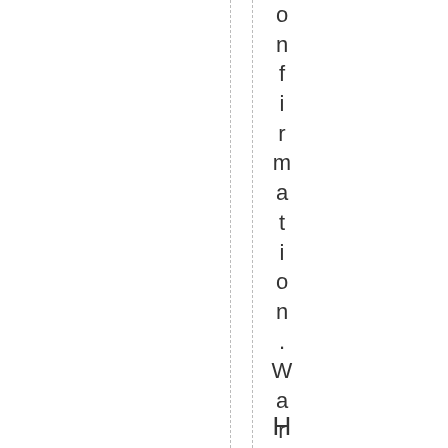onfirmation .WarmRegards .A .R .